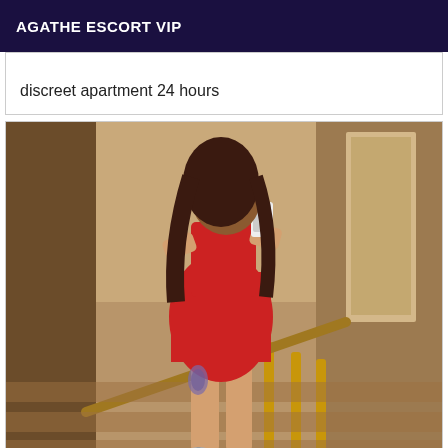AGATHE ESCORT VIP
discreet apartment 24 hours
[Figure (photo): Woman in red dress taking a mirror selfie on a staircase, holding a phone covering her face, with tattoos visible on her leg, wearing heels.]